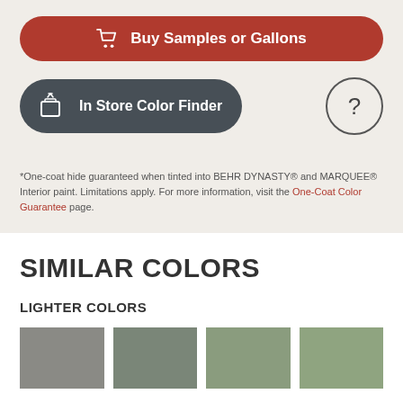[Figure (other): Red rounded button with shopping cart icon and text 'Buy Samples or Gallons']
[Figure (other): Dark gray rounded button with color finder device icon and text 'In Store Color Finder', plus a circular question mark button]
*One-coat hide guaranteed when tinted into BEHR DYNASTY® and MARQUEE® Interior paint. Limitations apply. For more information, visit the One-Coat Color Guarantee page.
SIMILAR COLORS
LIGHTER COLORS
[Figure (other): Four color swatches showing lighter color variants: gray, dark sage, medium sage, light sage]